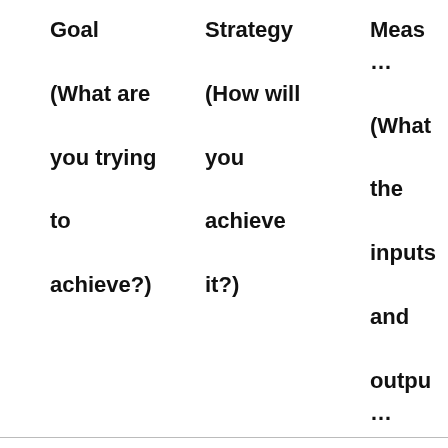|  | Goal
(What are you trying to achieve?) | Strategy
(How will you achieve it?) | Meas...
(What the inputs and outpu...) |
| --- | --- | --- | --- |
|  | Sell more of X from new product line | Increase marketing and advertising initiatives | Weekly number invento sold |
|  | Generate £X in new | Run virtual events to | Monthly and |